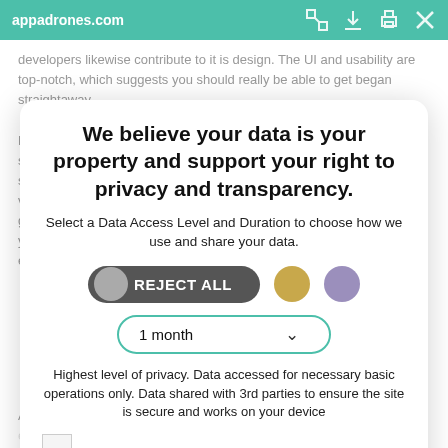appadrones.com
developers likewise contribute to it is design. The UI and usability are top-notch, which suggests you should really be able to get began straightaway.
We believe your data is your property and support your right to privacy and transparency.
Select a Data Access Level and Duration to choose how we use and share your data.
Probably the most important feature of Bitcoin Pro is the customer service. They also offer numerous communication strategies, including smartphone support, live chat, and social networking platforms. This is very important because you must deal with people from around the globe, which is something you might not be able to perform if you're by yourself. if you're a new comer to the world of crypto, you'll want to ensure you've recognized the details of the industry.
REJECT ALL
1 month
Highest level of privacy. Data accessed for necessary basic operations only. Data shared with 3rd parties to ensure the site is secure and works on your device
Save my preferences
Aside from a user-friendly interface, Bitcoin Pro gives a protected and easy way to purchase cryptocurrency. It's easy to get started,
Customize
Privacy policy